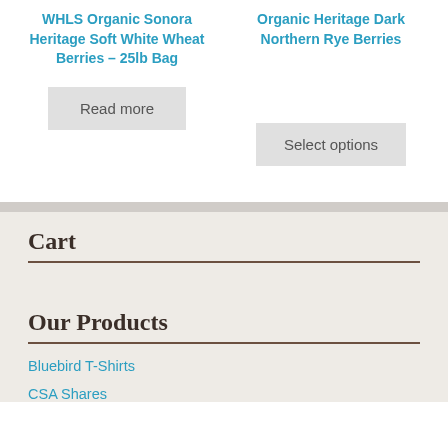WHLS Organic Sonora Heritage Soft White Wheat Berries – 25lb Bag
Organic Heritage Dark Northern Rye Berries
Read more
Select options
Cart
Our Products
Bluebird T-Shirts
CSA Shares